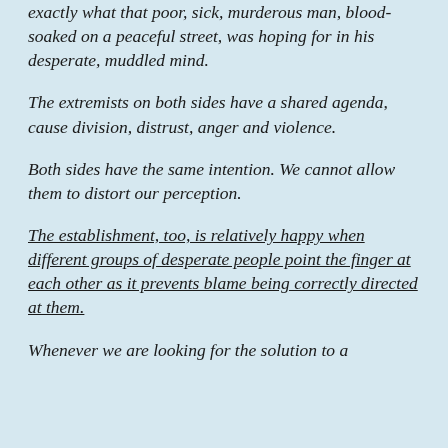exactly what that poor, sick, murderous man, blood-soaked on a peaceful street, was hoping for in his desperate, muddled mind.
The extremists on both sides have a shared agenda, cause division, distrust, anger and violence.
Both sides have the same intention. We cannot allow them to distort our perception.
The establishment, too, is relatively happy when different groups of desperate people point the finger at each other as it prevents blame being correctly directed at them.
Whenever we are looking for the solution to a